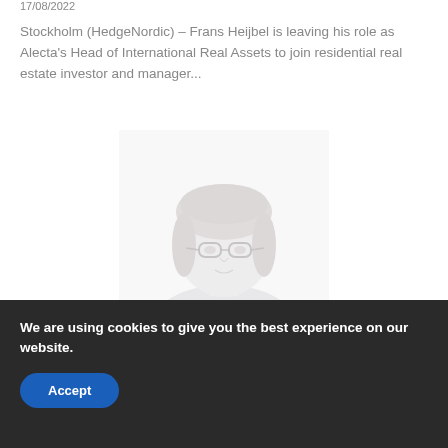17/08/2022
Stockholm (HedgeNordic) – Frans Heijbel is leaving his role as Alecta's Head of International Real Assets to join residential real estate investor and manager...
[Figure (photo): Faded portrait photo of a person with glasses and light hair, wearing a dark top, shown from shoulders up against a white background.]
We are using cookies to give you the best experience on our website.
Accept